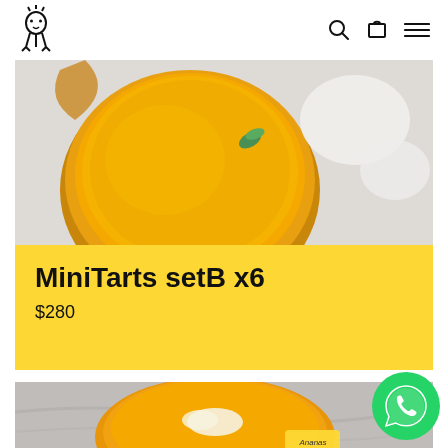Logo and navigation icons (search, cart, menu)
[Figure (photo): Top-down view of a golden mango tart with a green mint leaf on a white powdery surface]
MiniTarts setB x6
$280
[Figure (photo): Top-down view of an orange tart with cream decoration and Ananas branding label on a marble surface]